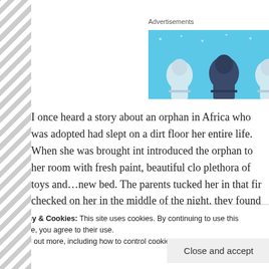[Figure (illustration): Advertisement banner with light blue background showing silhouetted figures with helmets/spacesuits seated at desks]
I once heard a story about an orphan in Africa who was adopted had slept on a dirt floor her entire life. When she was brought int introduced the orphan to her room with fresh paint, beautiful clo plethora of toys and…new bed. The parents tucked her in that fir checked on her in the middle of the night, they found her sleepin the next morning why she didn't stay in her new, cushy bed, she
Privacy & Cookies: This site uses cookies. By continuing to use this website, you agree to their use.
To find out more, including how to control cookies, see here: Cookie Policy